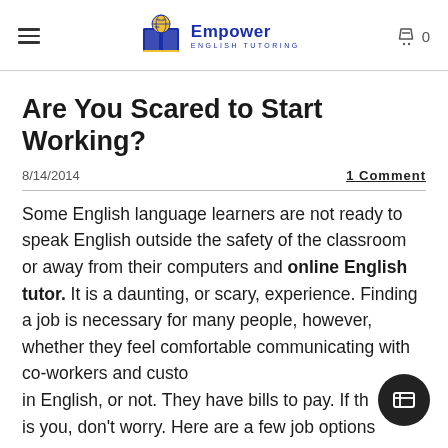Empower English Tutoring — navigation header with logo and cart
Are You Scared to Start Working?
8/14/2014   1 Comment
Some English language learners are not ready to speak English outside the safety of the classroom or away from their computers and online English tutor. It is a daunting, or scary, experience. Finding a job is necessary for many people, however, whether they feel comfortable communicating with co-workers and customers in English, or not. They have bills to pay. If this is you, don't worry. Here are a few job options